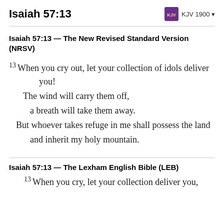Isaiah 57:13  KJV 1900
Isaiah 57:13 — The New Revised Standard Version (NRSV)
13 When you cry out, let your collection of idols deliver you!
    The wind will carry them off,
        a breath will take them away.
    But whoever takes refuge in me shall possess the land
        and inherit my holy mountain.
Isaiah 57:13 — The Lexham English Bible (LEB)
13 When you cry, let your collection deliver you,